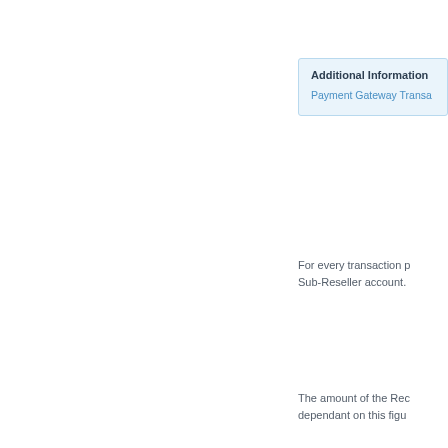Additional Information
Payment Gateway Transa...
For every transaction processed through the Sub-Reseller account.
The amount of the Rec... dependant on this figu...